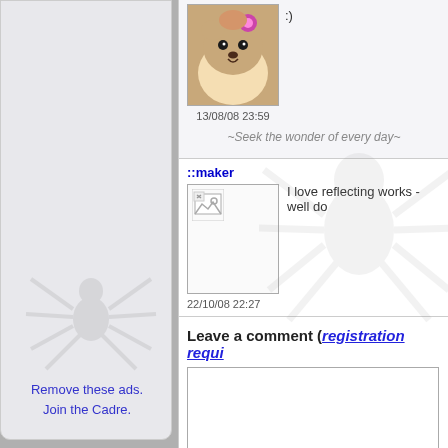[Figure (screenshot): Partial forum comment with dog avatar image, timestamp 13/08/08 23:59, and quote '~Seek the wonder of every day~']
:)
13/08/08 23:59
~Seek the wonder of every day~
::maker
I love reflecting works - well do
22/10/08 22:27
Leave a comment (registration requi
Remove these ads. Join the Cadre.